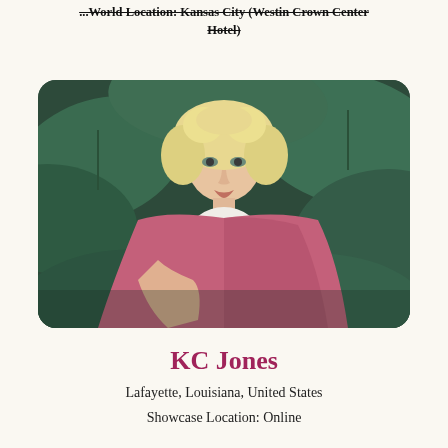...World Location: Kansas City (Westin Crown Center Hotel)
[Figure (photo): A young woman with curly blonde hair wearing a pink cape over a white lace top, posed in front of large tropical green leaves.]
KC Jones
Lafayette, Louisiana, United States
Showcase Location: Online